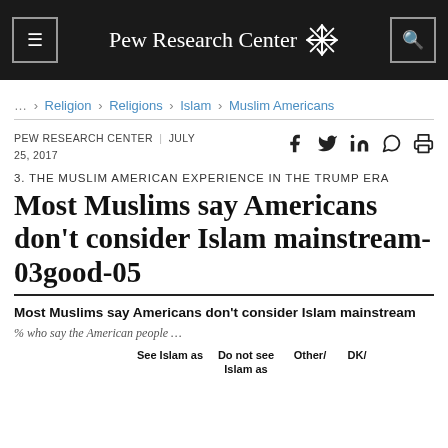Pew Research Center
... > Religion > Religions > Islam > Muslim Americans
PEW RESEARCH CENTER | JULY 25, 2017
3. THE MUSLIM AMERICAN EXPERIENCE IN THE TRUMP ERA
Most Muslims say Americans don’t consider Islam mainstream-03good-05
Most Muslims say Americans don’t consider Islam mainstream
% who say the American people …
|  | See Islam as | Do not see Islam as | Other/ | DK/ |
| --- | --- | --- | --- | --- |